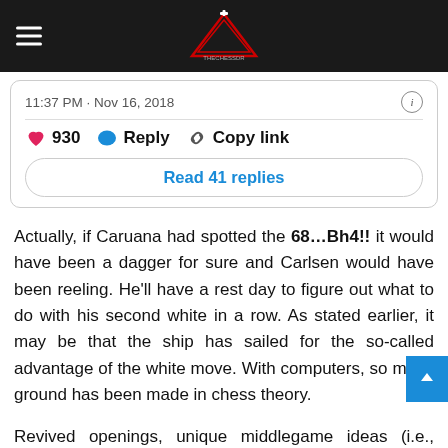TheChessDr — navigation bar with logo
11:37 PM · Nov 16, 2018
930  Reply  Copy link
Read 41 replies
Actually, if Caruana had spotted the 68…Bh4!! it would have been a dagger for sure and Carlsen would have been reeling. He'll have a rest day to figure out what to do with his second white in a row. As stated earlier, it may be that the ship has sailed for the so-called advantage of the white move. With computers, so much ground has been made in chess theory.
Revived openings, unique middlegame ideas (i.e., Alpha Zero) and complex multi-piece endings show that with the